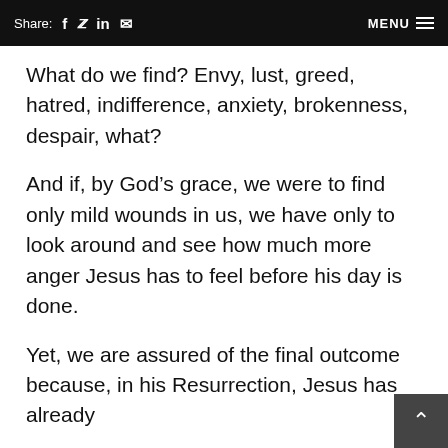Share: f in [mail] MENU
What do we find? Envy, lust, greed, hatred, indifference, anxiety, brokenness, despair, what?
And if, by God’s grace, we were to find only mild wounds in us, we have only to look around and see how much more anger Jesus has to feel before his day is done.
Yet, we are assured of the final outcome because, in his Resurrection, Jesus has already